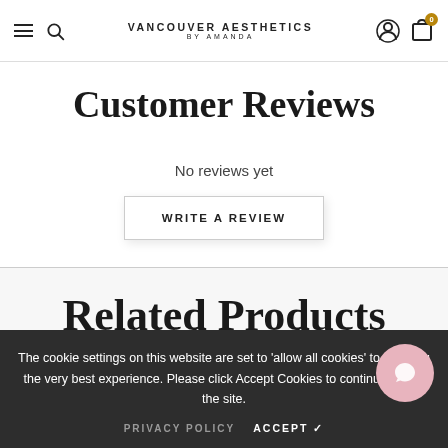Vancouver Aesthetics by Amanda
Customer Reviews
No reviews yet
WRITE A REVIEW
Related Products
The cookie settings on this website are set to 'allow all cookies' to give you the very best experience. Please click Accept Cookies to continue to use the site.
PRIVACY POLICY   ACCEPT ✓